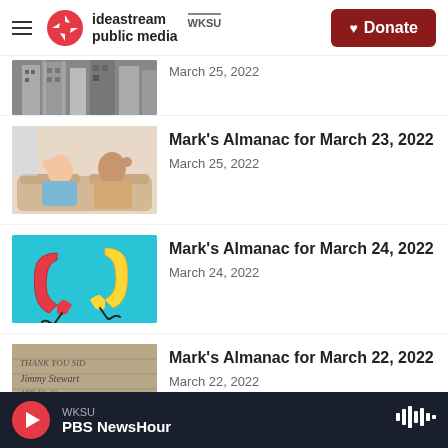ideastream public media | WKSU | Donate
[Figure (photo): Partial view of a black and white building photo]
March 25, 2022
Mark's Almanac for March 23, 2022
March 25, 2022
[Figure (photo): Two people sitting on a couch making OK gestures and smiling]
Mark's Almanac for March 24, 2022
March 24, 2022
[Figure (photo): Red and yellow telephone handsets on blue background]
Mark's Almanac for March 22, 2022
March 22, 2022
[Figure (photo): Handwritten message: THANK YOU SID Jimmy Stewart]
WKSU | PBS NewsHour